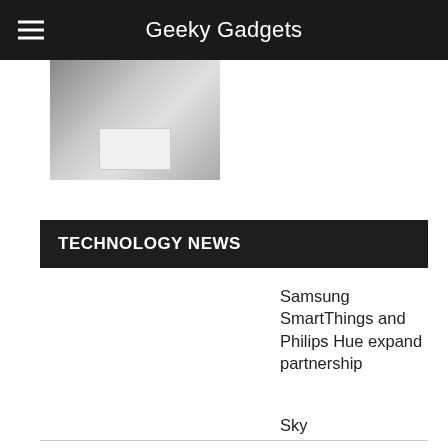Geeky Gadgets
[Figure (photo): Thumbnail image of a smartphone and white box on a dark surface]
TECHNOLOGY NEWS
Samsung SmartThings and Philips Hue expand partnership
Sky